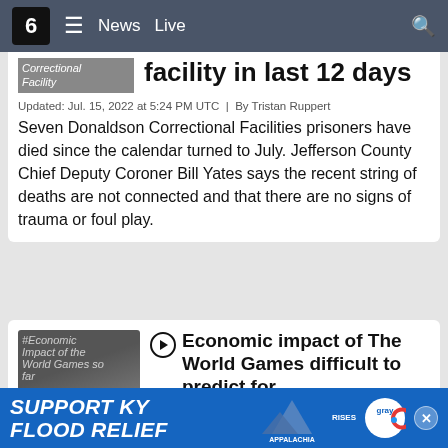6  ≡  News  Live
facility in last 12 days
Updated: Jul. 15, 2022 at 5:24 PM UTC  |  By Tristan Ruppert
Seven Donaldson Correctional Facilities prisoners have died since the calendar turned to July. Jefferson County Chief Deputy Coroner Bill Yates says the recent string of deaths are not connected and that there are no signs of trauma or foul play.
Economic impact of The World Games difficult to predict for tourism leaders
Updated: Jul. 15, 2022 at 12:49 AM UTC  |  By Tristan Ruppert
There are only a few days of competition left at The World...ng to focus...